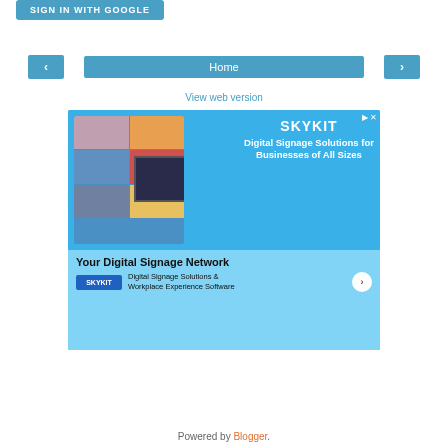[Figure (screenshot): Sign in with Google button — teal/blue rounded rectangle with white uppercase text]
[Figure (screenshot): Navigation row with left arrow button, Home center button, right arrow button — all teal/blue]
View web version
[Figure (screenshot): SKYKIT advertisement banner — blue background with photos of people, monitor displaying SKYKIT content, text: SKYKIT Digital Signage Solutions for Businesses of All Sizes. Bottom section: Your Digital Signage Network, SKYKIT logo, Digital Signage Solutions & Workplace Experience Software]
Powered by Blogger.